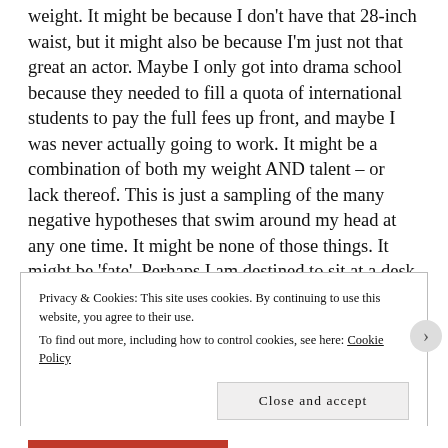weight. It might be because I don't have that 28-inch waist, but it might also be because I'm just not that great an actor. Maybe I only got into drama school because they needed to fill a quota of international students to pay the full fees up front, and maybe I was never actually going to work. It might be a combination of both my weight AND talent – or lack thereof. This is just a sampling of the many negative hypotheses that swim around my head at any one time. It might be none of those things. It might be 'fate'. Perhaps I am destined to sit at a desk for the rest of my life, ordering £300 toilet seats for the super-rich.
Privacy & Cookies: This site uses cookies. By continuing to use this website, you agree to their use.
To find out more, including how to control cookies, see here: Cookie Policy
Close and accept